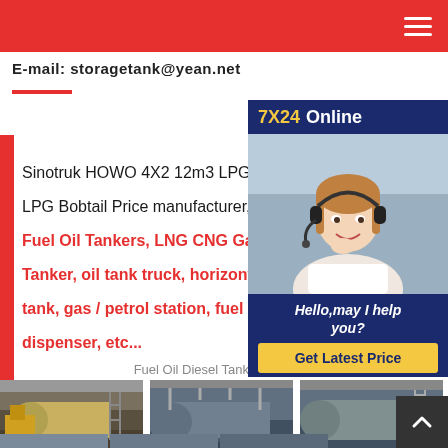E-mail: storagetank@yean.net
Sinotruk HOWO 4X2 12m3 LPG Tra... LPG Bobtail Price manufacturer, we... Fuel Oil Tankers, LNG CNG Gas Sto... Tanker, oil tank truck, horizontal s... tank, gas / petrol station, fuel disp... dispenser, etc...
[Figure (photo): 7X24 Online customer support agent with headset, hello may I help you? Get Latest Price button]
Fuel Oil Diesel Tanker Trailer
[Figure (photo): Three photos of fuel oil diesel tanker trailer manufacturing facility showing large cylindrical tanks in factory]